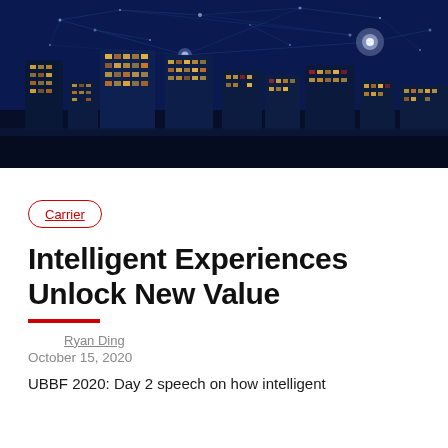[Figure (photo): Night cityscape with tall illuminated skyscrapers and a blue-toned digital network overlay showing glowing nodes and connection lines.]
Carrier
Intelligent Experiences Unlock New Value
Ryan Ding
October 15, 2020
UBBF 2020: Day 2 speech on how intelligent